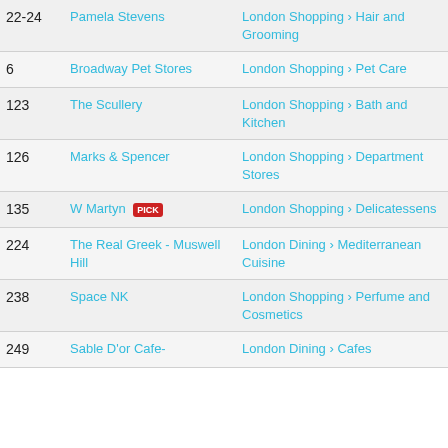| Number | Name | Category |
| --- | --- | --- |
| 22-24 | Pamela Stevens | London Shopping › Hair and Grooming |
| 6 | Broadway Pet Stores | London Shopping › Pet Care |
| 123 | The Scullery | London Shopping › Bath and Kitchen |
| 126 | Marks & Spencer | London Shopping › Department Stores |
| 135 | W Martyn [PICK] | London Shopping › Delicatessens |
| 224 | The Real Greek - Muswell Hill | London Dining › Mediterranean Cuisine |
| 238 | Space NK | London Shopping › Perfume and Cosmetics |
| 249 | Sable D'or Cafe- | London Dining › Cafes |